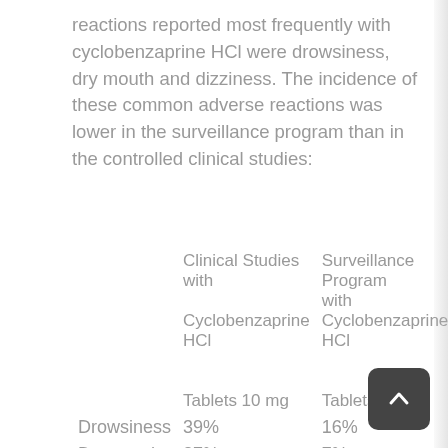reactions reported most frequently with cyclobenzaprine HCl were drowsiness, dry mouth and dizziness. The incidence of these common adverse reactions was lower in the surveillance program than in the controlled clinical studies:
|  | Clinical Studies with Cyclobenzaprine HCl Tablets 10 mg | Surveillance Program with Cyclobenzaprine HCl Tablets 10 mg |
| --- | --- | --- |
| Drowsiness | 39% | 16% |
| Dry mouth | 27% | 7% |
| Dizziness | 11% | 3% |